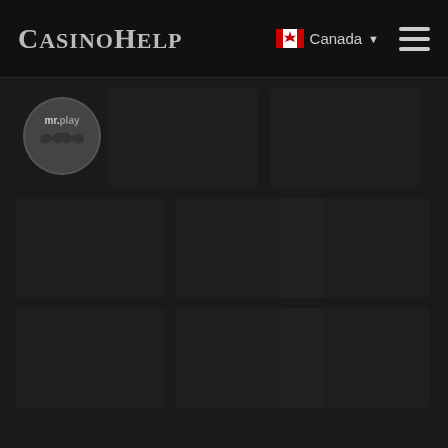CasinoHelp | Canada
[Figure (logo): mr.play casino logo: circular grey badge with mustache icon and 'mr.play' text]